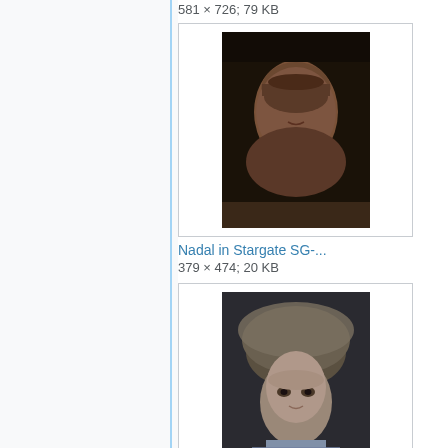581 × 726; 79 KB
[Figure (photo): Dark portrait photo of an older man with a stern expression, appearing to be a still from Stargate SG-1]
Nadal in Stargate SG-...
379 × 474; 20 KB
[Figure (photo): Photo of a child wearing a large fluffy hat/headpiece, from The Nox episode]
Nafrayu in The Nox.jpg
454 × 568; 126 KB